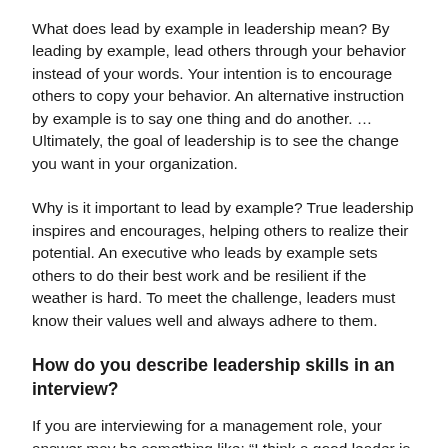What does lead by example in leadership mean? By leading by example, lead others through your behavior instead of your words. Your intention is to encourage others to copy your behavior. An alternative instruction by example is to say one thing and do another. … Ultimately, the goal of leadership is to see the change you want in your organization.
Why is it important to lead by example? True leadership inspires and encourages, helping others to realize their potential. An executive who leads by example sets others to do their best work and be resilient if the weather is hard. To meet the challenge, leaders must know their values well and always adhere to them.
How do you describe leadership skills in an interview?
If you are interviewing for a management role, your answer may be something like: “I think a good leader is someone who can